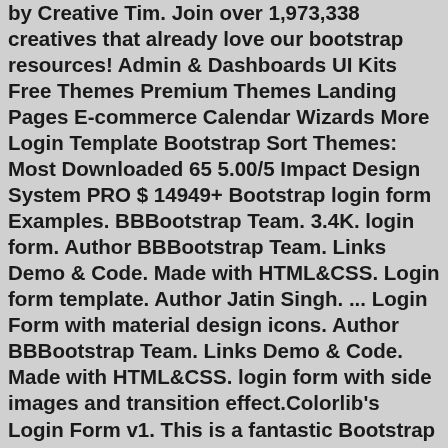by Creative Tim. Join over 1,973,338 creatives that already love our bootstrap resources! Admin & Dashboards UI Kits Free Themes Premium Themes Landing Pages E-commerce Calendar Wizards More Login Template Bootstrap Sort Themes: Most Downloaded 65 5.00/5 Impact Design System PRO $ 14949+ Bootstrap login form Examples. BBBootstrap Team. 3.4K. login form. Author BBBootstrap Team. Links Demo & Code. Made with HTML&CSS. Login form template. Author Jatin Singh. ... Login Form with material design icons. Author BBBootstrap Team. Links Demo & Code. Made with HTML&CSS. login form with side images and transition effect.Colorlib's Login Form v1. This is a fantastic Bootstrap 4 login form template that can be used for any project. It has a beautiful design, a clean codebase, and it's absolutely free to use. V20 Login Form. A full-featured free login form with an image backdrop page template that ensures the best possible user experience. Versions of Bootstrap 4 ... Bootstrap Login Form | Source Codes You have to create an